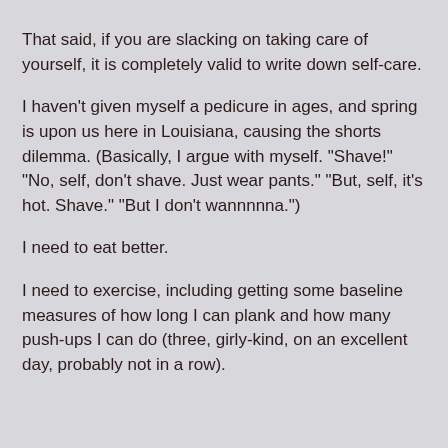That said, if you are slacking on taking care of yourself, it is completely valid to write down self-care.
I haven't given myself a pedicure in ages, and spring is upon us here in Louisiana, causing the shorts dilemma. (Basically, I argue with myself. "Shave!" "No, self, don't shave. Just wear pants." "But, self, it's hot. Shave." "But I don't wannnnna.")
I need to eat better.
I need to exercise, including getting some baseline measures of how long I can plank and how many push-ups I can do (three, girly-kind, on an excellent day, probably not in a row).